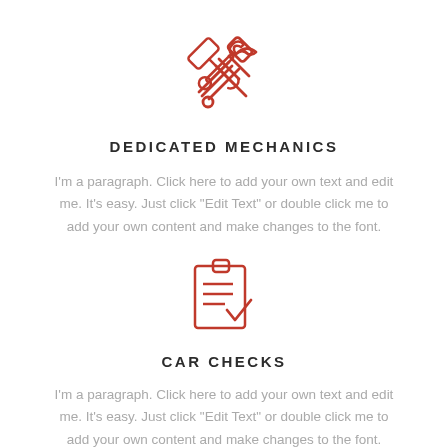[Figure (illustration): Red outline icon of crossed hammer and wrench tools]
DEDICATED MECHANICS
I'm a paragraph. Click here to add your own text and edit me. It's easy. Just click “Edit Text” or double click me to add your own content and make changes to the font.
[Figure (illustration): Red outline icon of a clipboard with checklist and checkmark]
CAR CHECKS
I’m a paragraph. Click here to add your own text and edit me. It’s easy. Just click “Edit Text” or double click me to add your own content and make changes to the font.